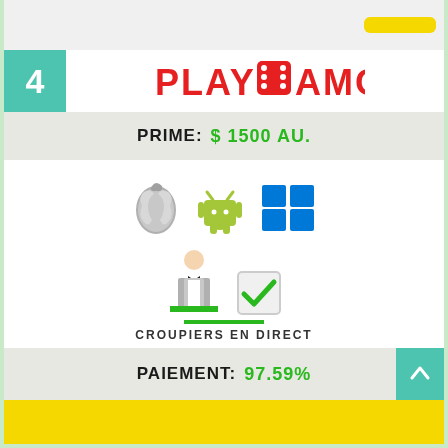[Figure (screenshot): Top portion of a previous casino card with yellow button visible]
[Figure (logo): PlayAmo casino logo with red text PLAY and AMO, dice icon in the middle]
PRIME: $ 1500 AU.
[Figure (infographic): Platform icons: Apple (iOS), Android robot, Windows logo. Below: live croupier icon with checkmark, green underline, label CROUPIERS EN DIRECT]
[Figure (infographic): Star rating: 4 full gold stars and 1 partial/gray star. Rating 4.6 / 5]
PAIEMENT: 97.59%